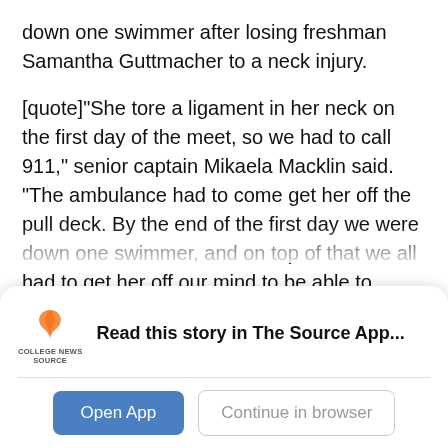down one swimmer after losing freshman Samantha Guttmacher to a neck injury.
[quote]“She tore a ligament in her neck on the first day of the meet, so we had to call 911,” senior captain Mikaela Macklin said. “The ambulance had to come get her off the pull deck. By the end of the first day we were down one swimmer, and on top of that we all had to get her off our mind to be able to race.”[/quote]
The Aztecs ended up finishing the first day of the championship meet in third place—behind the University of Nevada, Reno and Boise State, respectively—and were able to inch their way closer to
Read this story in The Source App...
Open App
Continue in browser